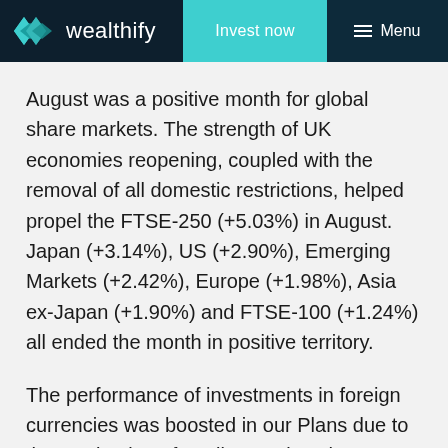wealthify  Invest now  Menu
August was a positive month for global share markets. The strength of UK economies reopening, coupled with the removal of all domestic restrictions, helped propel the FTSE-250 (+5.03%) in August. Japan (+3.14%), US (+2.90%), Emerging Markets (+2.42%), Europe (+1.98%), Asia ex-Japan (+1.90%) and FTSE-100 (+1.24%) all ended the month in positive territory.
The performance of investments in foreign currencies was boosted in our Plans due to the weakening of sterling against the euro, US dollar, and Japanese yen. We go into more detail on this